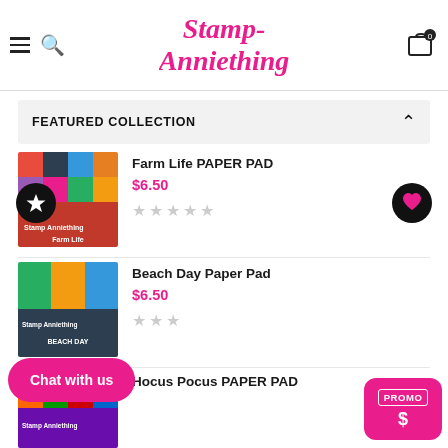[Figure (logo): Stamp Anniething logo in pink cursive/script font with hamburger menu and search icons on left, cart icon on right]
FEATURED COLLECTION
Farm Life PAPER PAD
$6.50
Beach Day Paper Pad
$6.50
Hocus Pocus PAPER PAD
Chat with us
PROMO